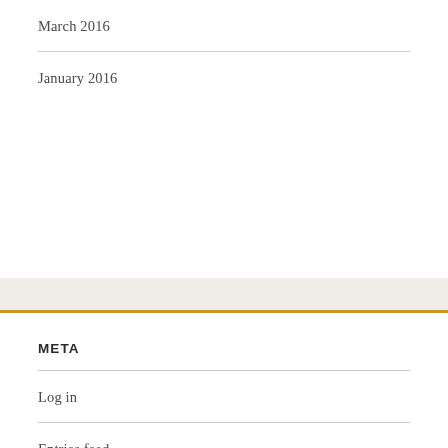March 2016
January 2016
META
Log in
Entries feed
Comments feed
WordPress.org